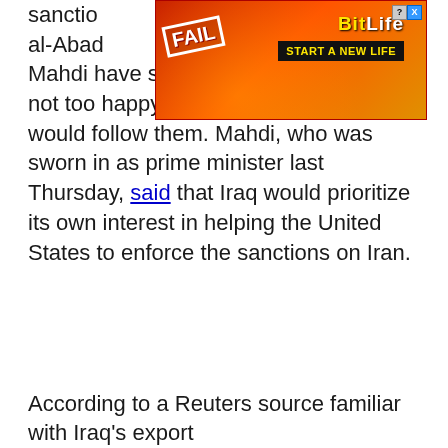[Figure (screenshot): BitLife advertisement banner with 'FAIL' text and animated character, red/orange gradient background, with 'START A NEW LIFE' call-to-action button. Partially obscured by overlapping text.]
sanctions ... aider al-Abadi ... Abdul Mahdi have said that even if they were not too happy with the sanctions, they would follow them. Mahdi, who was sworn in as prime minister last Thursday, said that Iraq would prioritize its own interest in helping the United States to enforce the sanctions on Iran.
According to a Reuters source familiar with Iraq's export